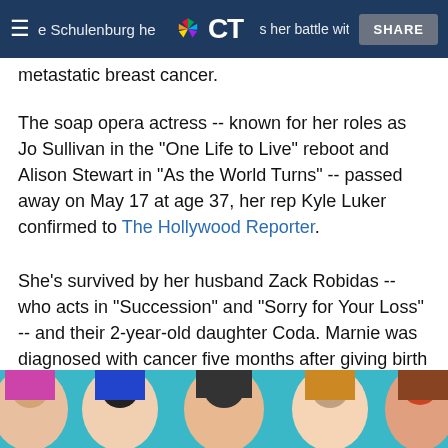Marnie Schulenburg has lost her battle with a ... metastatic breast cancer. [NBC CT logo, SHARE button]
metastatic breast cancer.
The soap opera actress -- known for her roles as Jo Sullivan in the "One Life to Live" reboot and Alison Stewart in "As the World Turns" -- passed away on May 17 at age 37, her rep Kyle Luker confirmed to The Hollywood Reporter.
She's survived by her husband Zack Robidas -- who acts in "Succession" and "Sorry for Your Loss" -- and their 2-year-old daughter Coda. Marnie was diagnosed with cancer five months after giving birth to Coda in December 2019, according to THR.
[Figure (photo): Horizontal strip of colorful upside-down portrait photos of people against a teal/turquoise background]